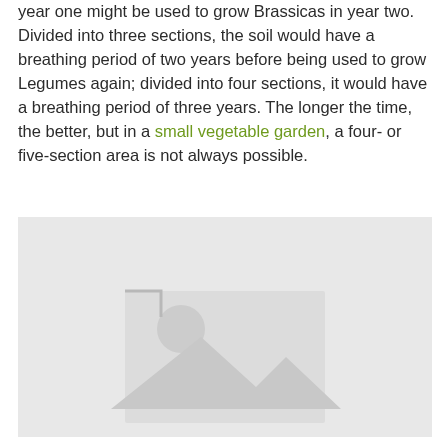year one might be used to grow Brassicas in year two. Divided into three sections, the soil would have a breathing period of two years before being used to grow Legumes again; divided into four sections, it would have a breathing period of three years. The longer the time, the better, but in a small vegetable garden, a four- or five-section area is not always possible.
[Figure (photo): Image placeholder with grey background and a broken image icon in the lower center area]